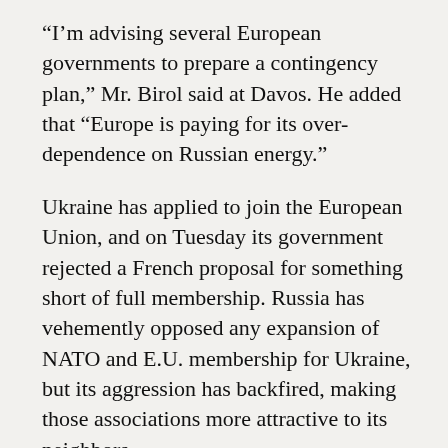“Im advising several European governments to prepare a contingency plan,” Mr. Birol said at Davos. He added that “Europe is paying for its over-dependence on Russian energy.”
Ukraine has applied to join the European Union, and on Tuesday its government rejected a French proposal for something short of full membership. Russia has vehemently opposed any expansion of NATO and E.U. membership for Ukraine, but its aggression has backfired, making those associations more attractive to its neighbors.
Increasingly isolated, the Kremlin has looked to Beijing for support, and Russia held joint military maneuvers on Tuesday with China, their first since the war in Ukraine began. The show of force included bomber flights over the Sea of Japan, while President Biden announced from